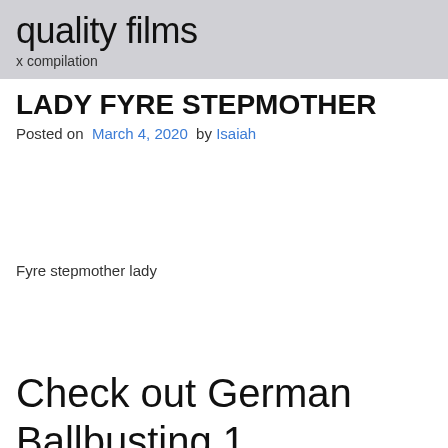quality films
x compilation
LADY FYRE STEPMOTHER
Posted on March 4, 2020 by Isaiah
Fyre stepmother lady
Check out German Ballbusting 1